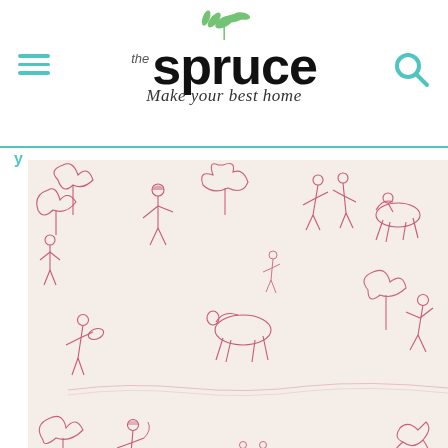the spruce — Make your best home
[Figure (photo): Close-up photograph of toile de jouy fabric with pink pastoral scenes (figures, animals, trees, countryside vignettes) on a cream/white background.]
rplay/E+/Getty Images
Ad
BACK TO TOP